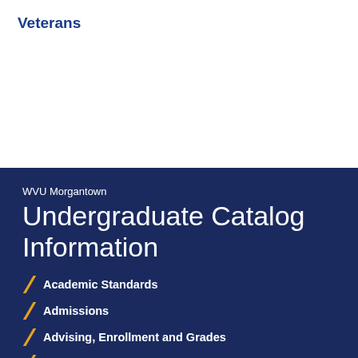Veterans
WVU Morgantown
Undergraduate Catalog Information
Academic Standards
Admissions
Advising, Enrollment and Grades
Calendar